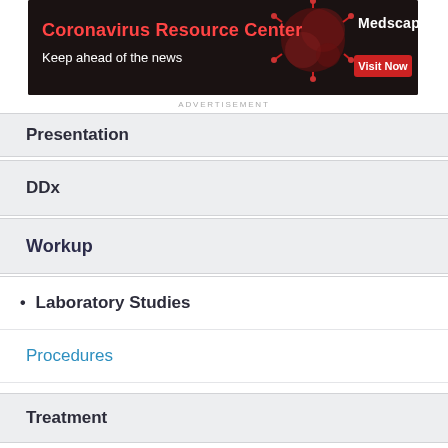[Figure (screenshot): Medscape Coronavirus Resource Center advertisement banner. Red text 'Coronavirus Resource Center', white text 'Keep ahead of the news', Medscape logo and red 'Visit Now' button on dark background with virus image.]
ADVERTISEMENT
Presentation
DDx
Workup
Laboratory Studies
Procedures
Histologic Findings
Treatment
Medication
Follow-up